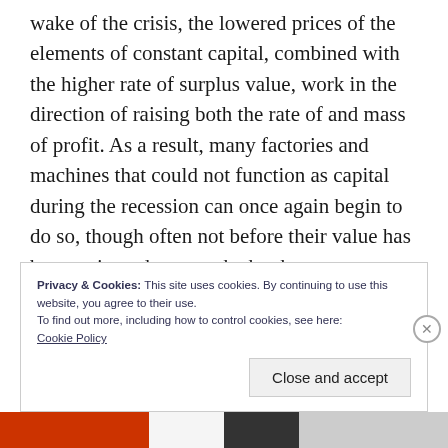wake of the crisis, the lowered prices of the elements of constant capital, combined with the higher rate of surplus value, work in the direction of raising both the rate of and mass of profit. As a result, many factories and machines that could not function as capital during the recession can once again begin to do so, though often not before their value has been written down on the books.
Privacy & Cookies: This site uses cookies. By continuing to use this website, you agree to their use.
To find out more, including how to control cookies, see here:
Cookie Policy
Close and accept